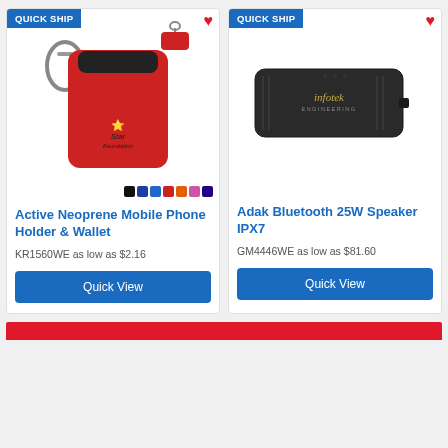[Figure (photo): Red neoprene mobile phone holder with carabiner clip and small matching keychain, showing color swatches at bottom]
Active Neoprene Mobile Phone Holder & Wallet
KR1560WE as low as $2.16
[Figure (photo): Dark gray/black rectangular Bluetooth speaker with Infotek Engineering branding]
Adak Bluetooth 25W Speaker IPX7
GM4446WE as low as $81.60